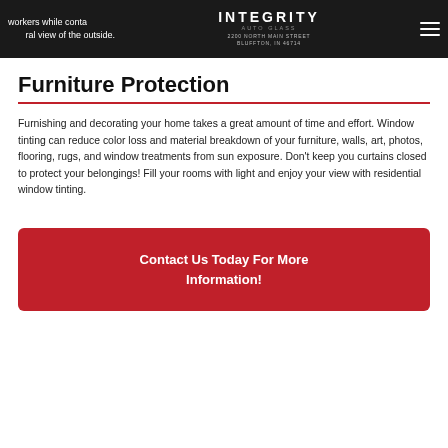workers while containing a natural view of the outside.
[Figure (logo): Integrity Auto Glass logo with text '2200 NORTH MAIN STREET BLUFFTON, IN 46714']
Furniture Protection
Furnishing and decorating your home takes a great amount of time and effort. Window tinting can reduce color loss and material breakdown of your furniture, walls, art, photos, flooring, rugs, and window treatments from sun exposure. Don't keep you curtains closed to protect your belongings! Fill your rooms with light and enjoy your view with residential window tinting.
Contact Us Today For More Information!